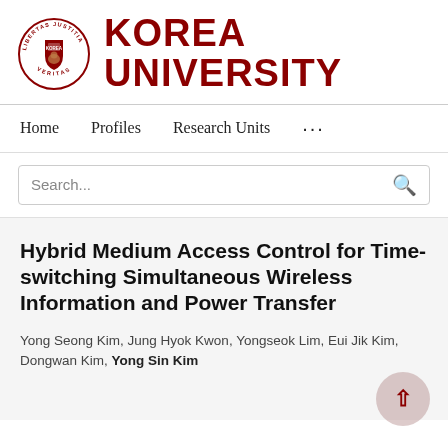[Figure (logo): Korea University circular seal/crest in dark red with lion, surrounded by text 'LIBERTAS JUSTITIA VERITAS', alongside bold text reading KOREA UNIVERSITY in dark red]
Home   Profiles   Research Units   ...
Search...
Hybrid Medium Access Control for Time-switching Simultaneous Wireless Information and Power Transfer
Yong Seong Kim, Jung Hyok Kwon, Yongseok Lim, Eui Jik Kim, Dongwan Kim, Yong Sin Kim